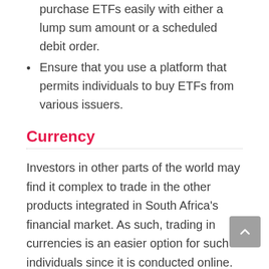purchase ETFs easily with either a lump sum amount or a scheduled debit order.
Ensure that you use a platform that permits individuals to buy ETFs from various issuers.
Currency
Investors in other parts of the world may find it complex to trade in the other products integrated in South Africa's financial market. As such, trading in currencies is an easier option for such individuals since it is conducted online.